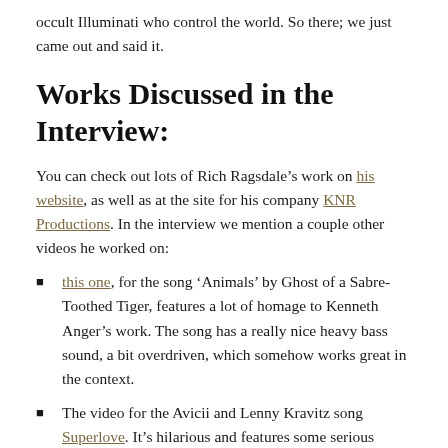occult Illuminati who control the world. So there; we just came out and said it.
Works Discussed in the Interview:
You can check out lots of Rich Ragsdale’s work on his website, as well as at the site for his company KNR Productions. In the interview we mention a couple other videos he worked on:
this one, for the song ‘Animals’ by Ghost of a Sabre-Toothed Tiger, features a lot of homage to Kenneth Anger’s work. The song has a really nice heavy bass sound, a bit overdriven, which somehow works great in the context.
The video for the Avicii and Lenny Kravitz song Superlove. It’s hilarious and features some serious